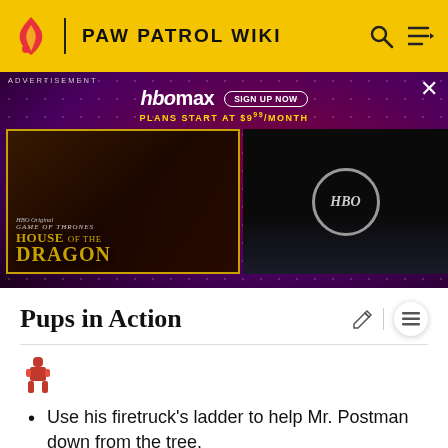PAW PATROL WIKI
[Figure (screenshot): HBO Max advertisement banner showing House of the Dragon promotion with purple/dark background, HBO Max logo, Sign Up Now button, Plans start at $9.99/month text, House of the Dragon show artwork on left, HBO logo on right, and X close button]
Pups in Action
[Figure (illustration): Small pixel-art style icon of a pup character (red/orange)]
Use his firetruck's ladder to help Mr. Postman down from the tree.
[Figure (illustration): Small pixel-art style icon of a pup with wings/propeller]